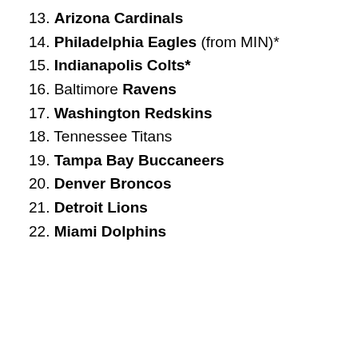13. Arizona Cardinals
14. Philadelphia Eagles (from MIN)*
15. Indianapolis Colts*
16. Baltimore Ravens
17. Washington Redskins
18. Tennessee Titans
19. Tampa Bay Buccaneers
20. Denver Broncos
21. Detroit Lions
22. Miami Dolphins